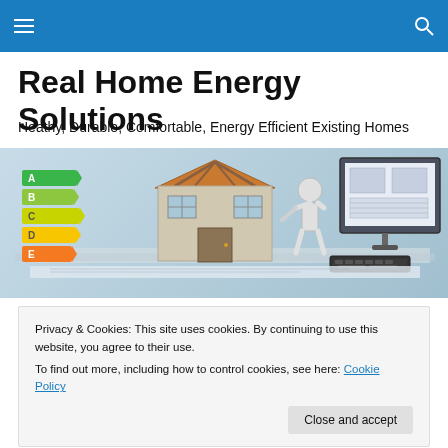Real Home Energy Solutions
Heathy, Durable, Comfortable, Energy Efficient Existing Homes
[Figure (illustration): Illustration showing energy efficiency rating blocks (A, B, C, D, E in green to orange), a cutaway house model, a humanoid figure, a computer monitor displaying house blueprints, a keyboard, and blueprint papers on a desk.]
Privacy & Cookies: This site uses cookies. By continuing to use this website, you agree to their use.
To find out more, including how to control cookies, see here: Cookie Policy
Close and accept